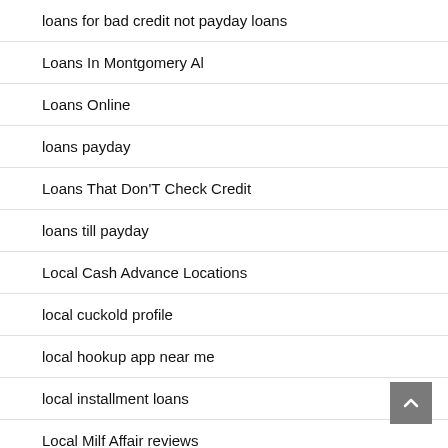loans for bad credit not payday loans
Loans In Montgomery Al
Loans Online
loans payday
Loans That Don'T Check Credit
loans till payday
Local Cash Advance Locations
local cuckold profile
local hookup app near me
local installment loans
Local Milf Affair reviews
local online dating